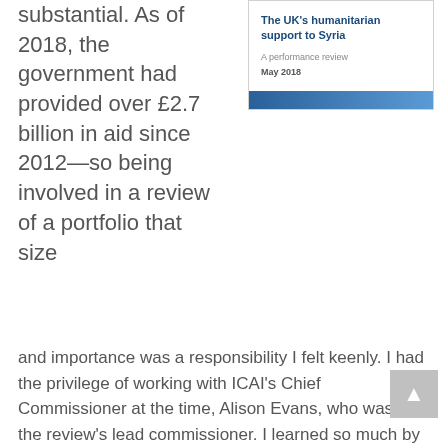substantial. As of 2018, the government had provided over £2.7 billion in aid since 2012—so being involved in a review of a portfolio that size
[Figure (illustration): Cover of ICAI report titled 'The UK's humanitarian support to Syria — A performance review, May 2018' with a blue horizontal bar at the bottom.]
and importance was a responsibility I felt keenly. I had the privilege of working with ICAI's Chief Commissioner at the time, Alison Evans, who was also the review's lead commissioner. I learned so much by observing how she engaged with the response's complex issues, as well as the higher-level strategic challenges the UK government faces in humanitarian crises.